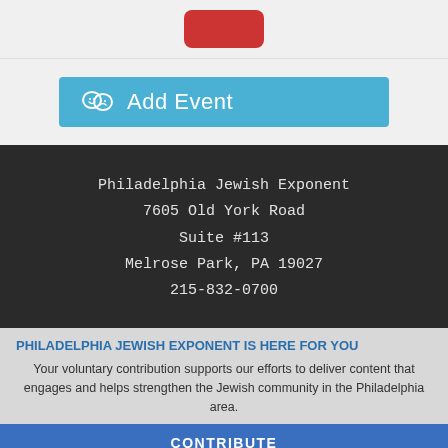[Figure (screenshot): Red button UI element at top]
[Figure (screenshot): Blue Add Event button with theater masks icon]
Philadelphia Jewish Exponent
7605 Old York Road
Suite #113
Melrose Park, PA 19027
215-832-0700
PHILADELPHIA JEWISH EXPONENT IS HERE FOR YOU
Your voluntary contribution supports our efforts to deliver content that engages and helps strengthen the Jewish community in the Philadelphia area.
[Figure (screenshot): Blue CONTRIBUTE button]
Subscribe
[Figure (screenshot): Jewish Exponent subscription card preview]